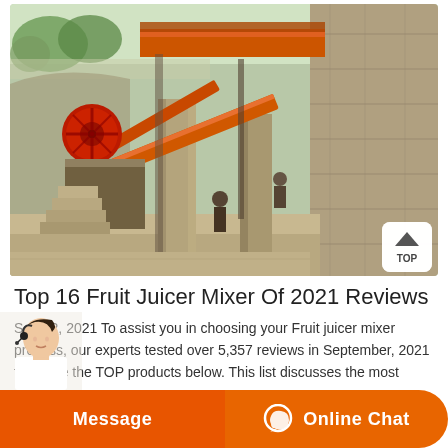[Figure (photo): Outdoor industrial mining or quarrying equipment — large jaw crusher with orange conveyor/boom arm, red flywheel, stone pillars, and steps, set against a rocky hillside with trees in background. A 'TOP' navigation button is visible in the bottom-right corner of the image.]
Top 16 Fruit Juicer Mixer Of 2021 Reviews
Sep 12, 2021 To assist you in choosing your Fruit juicer mixer process, our experts tested over 5,357 reviews in September, 2021 to create the TOP products below. This list discusses the most popular brands, consisting of b...
[Figure (photo): Customer service representative (woman with headset) partially visible at bottom-left, with orange 'Message' and 'Online Chat' call-to-action buttons spanning the bottom of the page.]